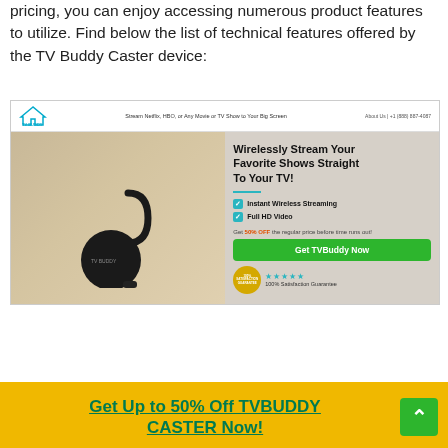pricing, you can enjoy accessing numerous product features to utilize. Find below the list of technical features offered by the TV Buddy Caster device:
[Figure (screenshot): TV Buddy website screenshot showing a streaming device with headline 'Wirelessly Stream Your Favorite Shows Straight To Your TV!', features like Instant Wireless Streaming and Full HD Video, a green CTA button 'Get TVBuddy Now', and a 100% Satisfaction Guarantee badge with blue stars.]
Get Up to 50% Off TVBUDDY CASTER Now!